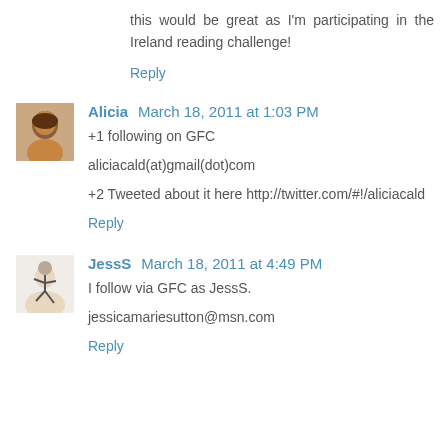this would be great as I'm participating in the Ireland reading challenge!
Reply
Alicia March 18, 2011 at 1:03 PM
+1 following on GFC

aliciacald(at)gmail(dot)com

+2 Tweeted about it here http://twitter.com/#!/aliciacald
Reply
JessS March 18, 2011 at 4:49 PM
I follow via GFC as JessS.

jessicamariesutton@msn.com
Reply